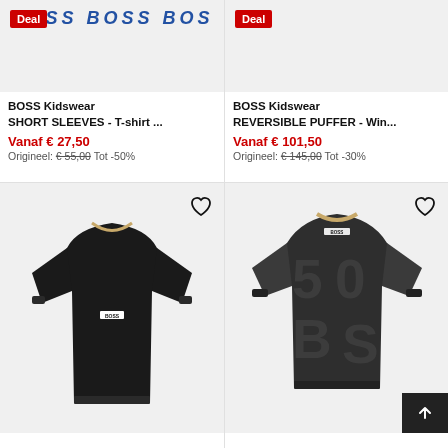[Figure (photo): BOSS Kidswear product image top-left with Deal badge and BOSS logo text]
[Figure (photo): BOSS Kidswear product image top-right with Deal badge]
BOSS Kidswear
SHORT SLEEVES - T-shirt ...
Vanaf € 27,50
Origineel: €55,00 Tot -50%
BOSS Kidswear
REVERSIBLE PUFFER - Win...
Vanaf € 101,50
Origineel: €145,00 Tot -30%
[Figure (photo): Black BOSS sweatshirt with small BOSS logo on chest, on light grey background with heart icon]
[Figure (photo): Dark grey BOSS t-shirt with large BOSS lettering pattern, on light grey background with heart icon and back-to-top button]